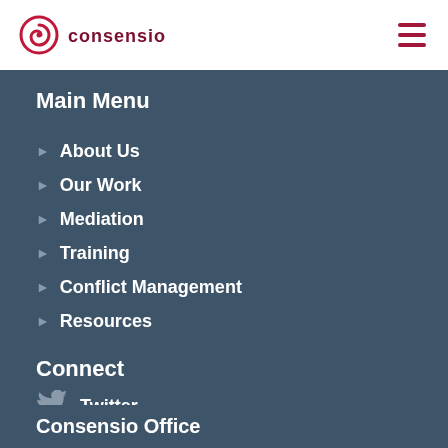[Figure (logo): Consensio logo: red spiral icon with 'consensio' text in dark red/maroon]
[Figure (illustration): Hamburger menu icon with three horizontal dark red lines]
Main Menu
About Us
Our Work
Mediation
Training
Conflict Management
Resources
Connect
Twitter
LinkedIn
Consensio Office